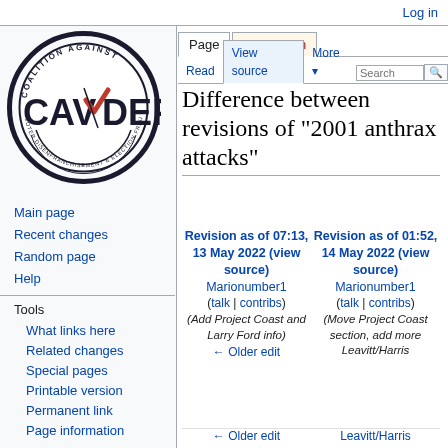Log in
[Figure (logo): CAVDEF - Coalition Against Voter Disenfranchisement & Election Fraud logo: circular emblem with a checkmark]
Main page
Recent changes
Random page
Help
Tools
What links here
Related changes
Special pages
Printable version
Permanent link
Page information
Difference between revisions of "2001 anthrax attacks"
Revision as of 07:13, 13 May 2022 (view source) Marionumber1 (talk | contribs) (Add Project Coast and Larry Ford info) ← Older edit
Revision as of 01:52, 14 May 2022 (view source) Marionumber1 (talk | contribs) (Move Project Coast section, add more Leavitt/Harris